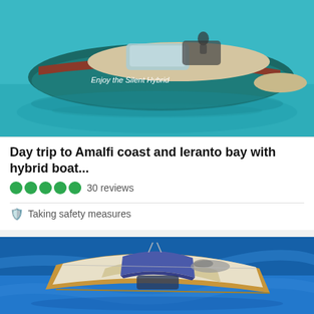[Figure (photo): Aerial/side view of a teal/green hybrid boat on turquoise water with text 'Enjoy the Silent Hybrid' on the hull]
Day trip to Amalfi coast and Ieranto bay with hybrid boat...
30 reviews
Taking safety measures
from US$158.06
Book Now
[Figure (photo): Aerial view of a wooden motorboat with blue canopy cover on vivid blue water]